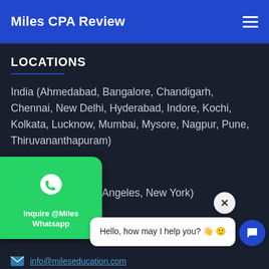Miles CPA Review
LOCATIONS
India (Ahmedabad, Bangalore, Chandigarh, Chennai, New Delhi, Hyderabad, Indore, Kochi, Kolkata, Lucknow, Mumbai, Mysore, Nagpur, Pune, Thiruvananthapuram)
UAE (Dubai)
USA (Chicago, Los Angeles, New York)
[Figure (screenshot): WhatsApp inquiry button overlay (green rounded rectangle) with WhatsApp phone icon and label 'Inquire @Miles Whatsapp']
[Figure (screenshot): Chat popup with close X button, speech bubble saying 'Hello, how may I help you? 👋 🙂', and blue chat icon button]
info@mileseducation.com